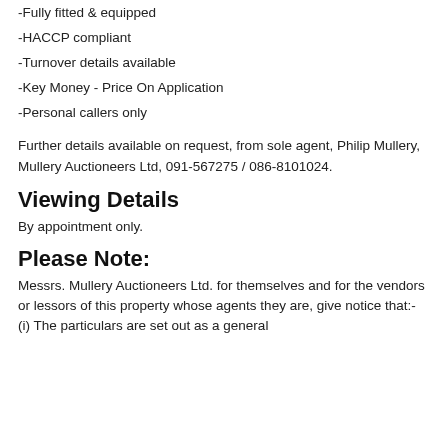-Fully fitted & equipped
-HACCP compliant
-Turnover details available
-Key Money - Price On Application
-Personal callers only
Further details available on request, from sole agent, Philip Mullery, Mullery Auctioneers Ltd, 091-567275 / 086-8101024.
Viewing Details
By appointment only.
Please Note:
Messrs. Mullery Auctioneers Ltd. for themselves and for the vendors or lessors of this property whose agents they are, give notice that:- (i) The particulars are set out as a general